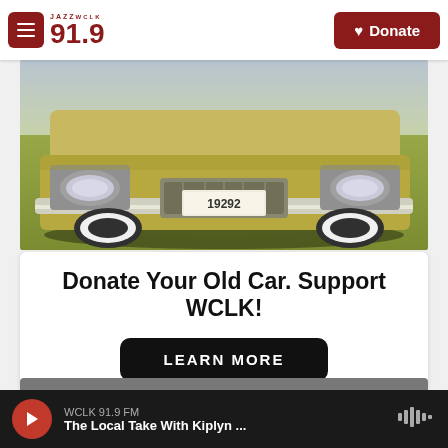JAZZ WCLK 91.9 — Donate
[Figure (photo): Front bumper and headlights of a vintage car parked on grass, with license plate number 19292]
Donate Your Old Car. Support WCLK!
LEARN MORE
SUPPORT THE
WCLK 91.9 FM — The Local Take With Kiplyn ...